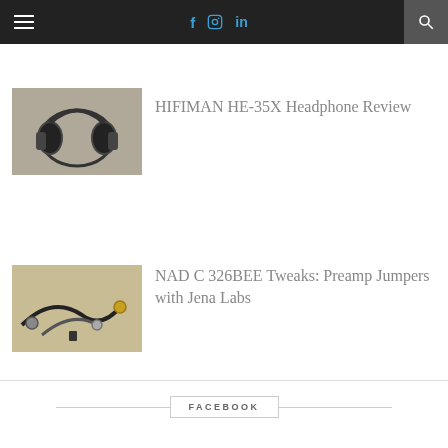Navigation bar with hamburger menu, social icons (Facebook, Instagram, LinkedIn), and search
[Figure (photo): Headphones (HIFIMAN HE-35X) lying on a wooden surface]
HIFIMAN HE-35X Headphone Review
[Figure (photo): Audio cables and connectors on a cork/sandy background]
NAD C 326BEE Tweaks: Preamp Jumpers with Jena Labs
FACEBOOK